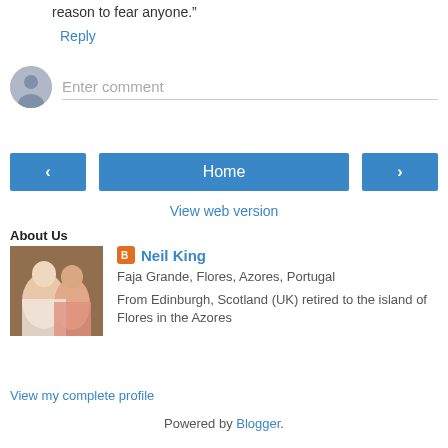reason to fear anyone."
Reply
Enter comment
[Figure (illustration): Navigation buttons: left arrow, Home, right arrow]
View web version
About Us
[Figure (photo): Profile photo of a couple (man and woman)]
Neil King
Faja Grande, Flores, Azores, Portugal
From Edinburgh, Scotland (UK) retired to the island of Flores in the Azores
View my complete profile
Powered by Blogger.